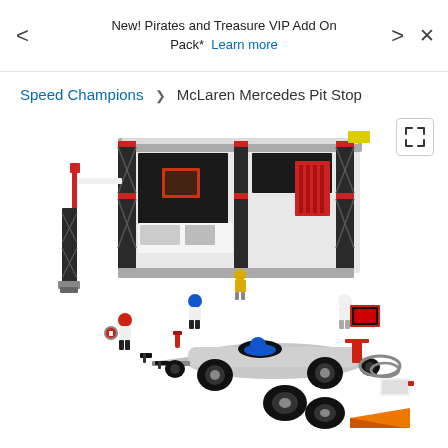New! Pirates and Treasure VIP Add On Pack* Learn more
Speed Champions > McLaren Mercedes Pit Stop
[Figure (photo): LEGO McLaren Mercedes Pit Stop set product photo showing assembled pit stop garage structure with minifigures, Formula 1 car, tires, and accessories on white background]
[Figure (other): Expand/fullscreen icon button]